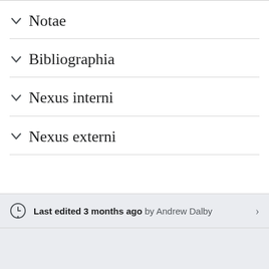Notae
Bibliographia
Nexus interni
Nexus externi
Last edited 3 months ago by Andrew Dalby